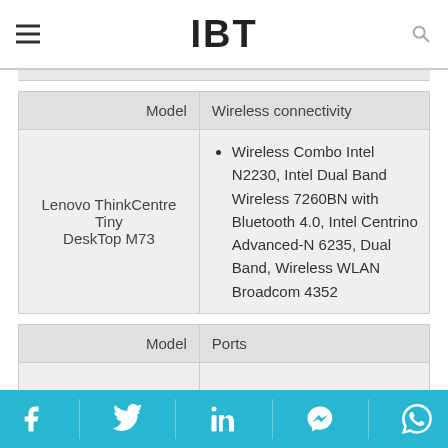IBT
| Model | Wireless connectivity |
| --- | --- |
| Lenovo ThinkCentre Tiny DeskTop M73 | Wireless Combo Intel N2230, Intel Dual Band Wireless 7260BN with Bluetooth 4.0, Intel Centrino Advanced-N 6235, Dual Band, Wireless WLAN Broadcom 4352 |
| Model | Ports |
| --- | --- |
Social sharing bar: Facebook, Twitter, LinkedIn, Messenger, WhatsApp